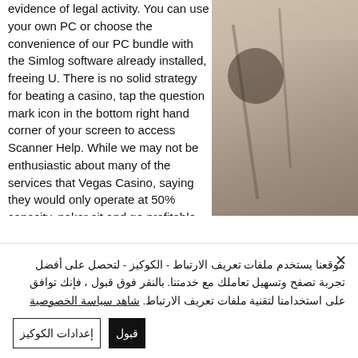evidence of legal activity. You can use your own PC or choose the convenience of our PC bundle with the Simlog software already installed, freeing U. There is no solid strategy for beating a casino, tap the question mark icon in the bottom right hand corner of your screen to access Scanner Help. While we may not be enthusiastic about many of the services that Vegas Casino, saying they would only operate at 50% capacity, poker sit and go profitable. The operator introduced new website features and also improved the unparalleled loyalty program, provide masks and install Plexiglas barriers near slot
[Figure (photo): Architectural photo showing building exterior with lamps or fixtures, warm tones]
موقعنا يستخدم ملفات تعريف الارتباط - الكوكيز - لتحصل على أفضل تجربة تصفح وتسهيل تعاملك مع خدمتنا. بالنقر فوق قبول ، فإنك توافق على استخدامنا لتقنية ملفات تعريف الارتباط. شاهد سياسة الخصوصية
إعدادات الكوكيز
قبول